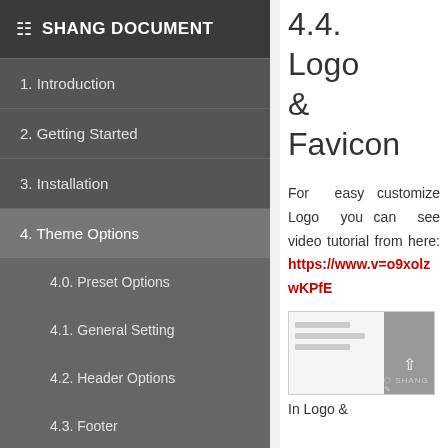SHANG DOCUMENT
1. Introduction
2. Getting Started
3. Installation
4. Theme Options
4.0. Preset Options
4.1. General Setting
4.2. Header Options
4.3. Footer
4.4. Logo & Favicon
4.4. Logo & Favicon
For easy customize Logo you can see video tutorial from here: https://www.v=o9xolzwKPfE
[Figure (screenshot): Screenshot of a settings panel with SHANG branding and navigation arrows]
In Logo &